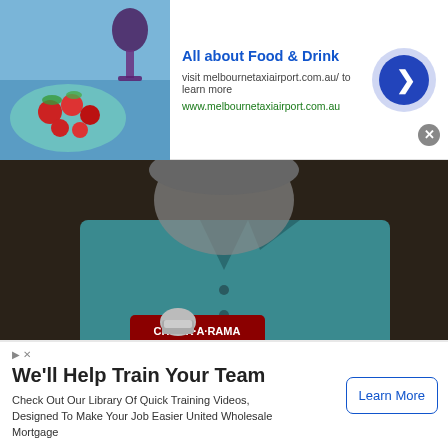[Figure (photo): Ad banner with food and drink image (blue wine glass, plate of tomatoes), blue arrow button, title 'All about Food & Drink', description text, and close button]
All about Food & Drink
visit melbournetaxiairport.com.au/ to learn more
www.melbournetaxiairport.com.au
[Figure (screenshot): Video player showing a man in a teal polo shirt with Chuck-A-Rama Buffet logo overlay in the lower left]
[Figure (screenshot): Collapsed ad bar showing chevron/down arrow and 'All about Food & Drink' title with close button]
All about Food & Drink
We'll Help Train Your Team
Check Out Our Library Of Quick Training Videos, Designed To Make Your Job Easier United Wholesale Mortgage
Learn More